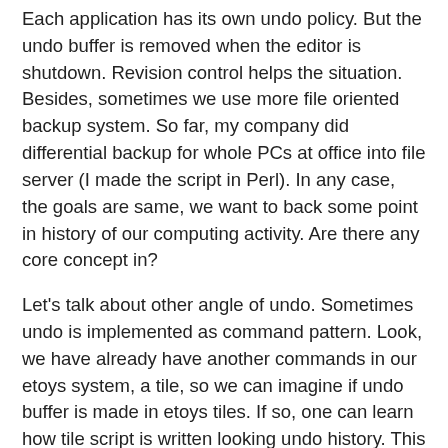Each application has its own undo policy. But the undo buffer is removed when the editor is shutdown. Revision control helps the situation. Besides, sometimes we use more file oriented backup system. So far, my company did differential backup for whole PCs at office into file server (I made the script in Perl). In any case, the goals are same, we want to back some point in history of our computing activity. Are there any core concept in?
Let's talk about other angle of undo. Sometimes undo is implemented as command pattern. Look, we have already have another commands in our etoys system, a tile, so we can imagine if undo buffer is made in etoys tiles. If so, one can learn how tile script is written looking undo history. This is basically same as macro recording (actually, I have learned emacs lisp to record/read macro scripts so far). To achieve such feature, all operation including painting a form and editing a text should be recorded as commands (as HyperTalk has all commands for menu / editor operation).
If all operation is recorded into undo buffer, we can see the undo buffer is document itself. That is an interesting side-